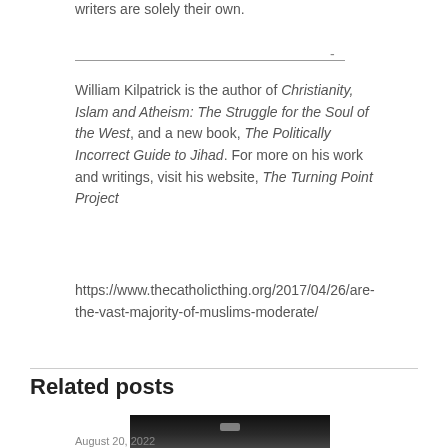writers are solely their own.
William Kilpatrick is the author of Christianity, Islam and Atheism: The Struggle for the Soul of the West, and a new book, The Politically Incorrect Guide to Jihad. For more on his work and writings, visit his website, The Turning Point Project
https://www.thecatholicthing.org/2017/04/26/are-the-vast-majority-of-muslims-moderate/
Related posts
[Figure (photo): Dark photograph, partially visible at bottom of page, with a small light-colored horizontal element in the center]